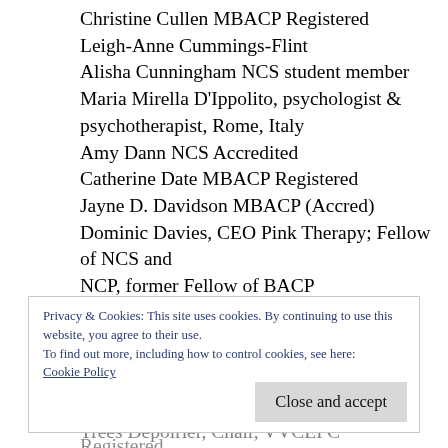Christine Cullen MBACP Registered
Leigh-Anne Cummings-Flint
Alisha Cunningham NCS student member
Maria Mirella D'Ippolito, psychologist & psychotherapist, Rome, Italy
Amy Dann NCS Accredited
Catherine Date MBACP Registered
Jayne D. Davidson MBACP (Accred)
Dominic Davies, CEO Pink Therapy; Fellow of NCS and NCP, former Fellow of BACP
Jennifer Davies MBACP & UKCP Registered
Kim Davies MBACP Registered
Maria Davies MBACP Registered
Rebecca Davies nee Hawes MBACP Registered
Privacy & Cookies: This site uses cookies. By continuing to use this website, you agree to their use.
To find out more, including how to control cookies, see here:
Cookie Policy
Close and accept
Trees Depoirier, Chair, VVCEPC